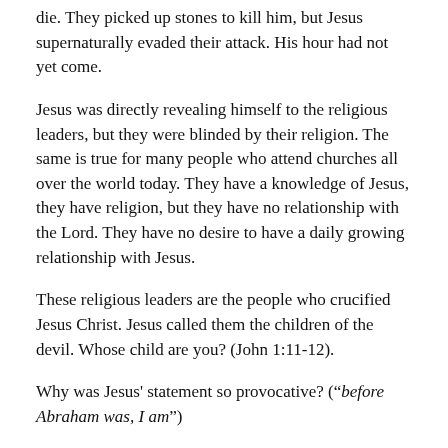die. They picked up stones to kill him, but Jesus supernaturally evaded their attack. His hour had not yet come.
Jesus was directly revealing himself to the religious leaders, but they were blinded by their religion. The same is true for many people who attend churches all over the world today. They have a knowledge of Jesus, they have religion, but they have no relationship with the Lord. They have no desire to have a daily growing relationship with Jesus.
These religious leaders are the people who crucified Jesus Christ. Jesus called them the children of the devil. Whose child are you? (John 1:11-12).
Why was Jesus' statement so provocative? (“before Abraham was, I am”)